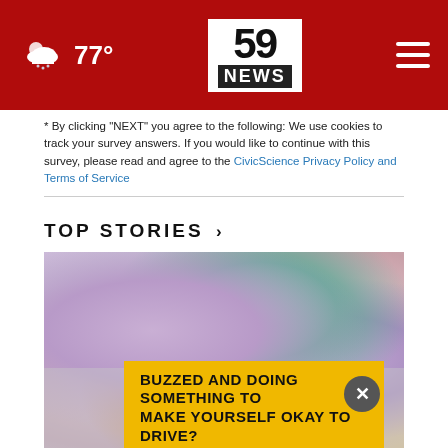59 NEWS — 77°
* By clicking "NEXT" you agree to the following: We use cookies to track your survey answers. If you would like to continue with this survey, please read and agree to the CivicScience Privacy Policy and Terms of Service
TOP STORIES ›
[Figure (photo): Close-up photo of colorful pills and tablets in various shades of purple, green, and tan/brown, appearing to be in a plastic bag. An advertisement overlay reads 'BUZZED AND DOING SOMETHING TO MAKE YOURSELF OKAY TO DRIVE?' in bold black text on a yellow background.]